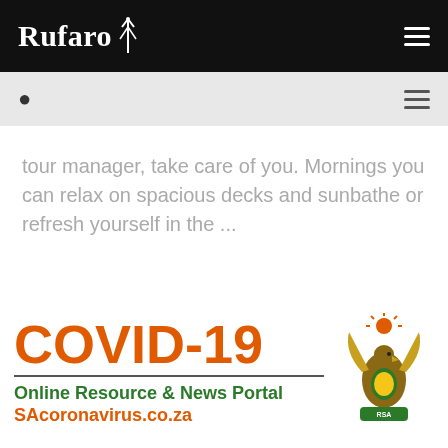Rufaro
tour manager, take care of you. Mornings you can relax on spacious decks and sunbathe or refresh yourself in the ...
Continue reading →
[Figure (infographic): COVID-19 Online Resource & News Portal SAcoronavirus.co.za banner with South African coat of arms]